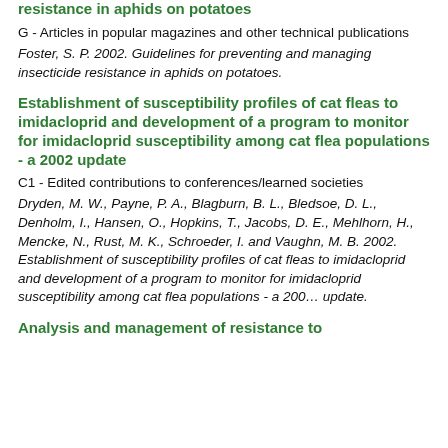resistance in aphids on potatoes
G - Articles in popular magazines and other technical publications
Foster, S. P. 2002. Guidelines for preventing and managing insecticide resistance in aphids on potatoes.
Establishment of susceptibility profiles of cat fleas to imidacloprid and development of a program to monitor for imidacloprid susceptibility among cat flea populations - a 2002 update
C1 - Edited contributions to conferences/learned societies
Dryden, M. W., Payne, P. A., Blagburn, B. L., Bledsoe, D. L., Denholm, I., Hansen, O., Hopkins, T., Jacobs, D. E., Mehlhorn, H., Mencke, N., Rust, M. K., Schroeder, I. and Vaughn, M. B. 2002. Establishment of susceptibility profiles of cat fleas to imidacloprid and development of a program to monitor for imidacloprid susceptibility among cat flea populations - a 2002 update.
Analysis and management of resistance to